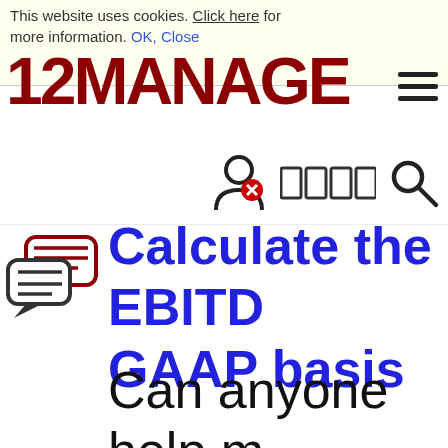This website uses cookies. Click here for more information. OK, Close
[Figure (logo): 12MANAGE logo in dark red with hamburger menu icon]
[Figure (infographic): User login icon with red X, language selector squares, and magnifying glass search icon]
Calculate the EBITDA on a GAAP basis
Can anyone help me calculate the EBITD... GAAP basis, i'm usi...